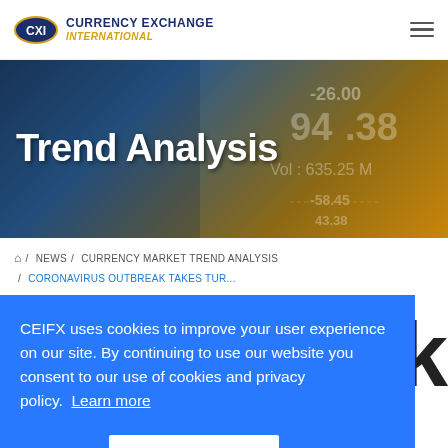[Figure (logo): Currency Exchange International (CXI) logo with oval CXI emblem and company name]
[Figure (photo): Hero banner with stock market ticker display showing 'Trend Analysis' text overlay, numbers including 1194.38, Vol: 635.25M, -26.00, -58.45, 43.38]
Trend Analysis
/ NEWS / CURRENCY MARKET TREND ANALYSIS / CORONAVIRUS OUTBREAK TAKES TUR...
CEIFX uses cookies to improve your user experience on our site. By continuing to use our website you consent to our use of cookies and privacy policy. Learn more
Decline
Accept